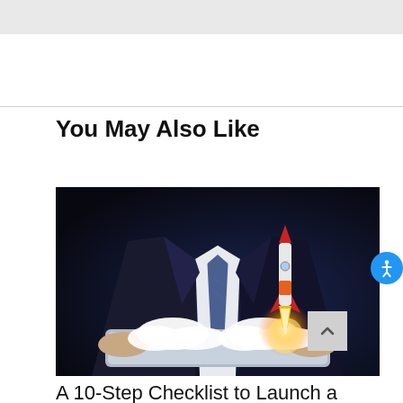[Figure (photo): Gray header bar at top of webpage]
You May Also Like
[Figure (photo): Businessman in dark suit holding a tablet from which a red and white rocket launches amid clouds, dark background]
A 10-Step Checklist to Launch a SaaS Business Without...